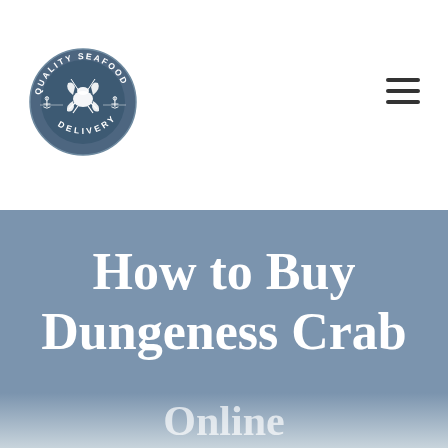[Figure (logo): Quality Seafood Delivery circular logo with lobster/crab icon, anchors, and text around the border on a dark blue-grey background]
How to Buy Dungeness Crab Online